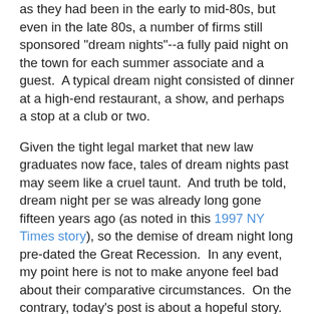as they had been in the early to mid-80s, but even in the late 80s, a number of firms still sponsored "dream nights"--a fully paid night on the town for each summer associate and a guest.  A typical dream night consisted of dinner at a high-end restaurant, a show, and perhaps a stop at a club or two.
Given the tight legal market that new law graduates now face, tales of dream nights past may seem like a cruel taunt.  And truth be told, dream night per se was already long gone fifteen years ago (as noted in this 1997 NY Times story), so the demise of dream night long pre-dated the Great Recession.  In any event, my point here is not to make anyone feel bad about their comparative circumstances.  On the contrary, today's post is about a hopeful story.  For while dream night may have died, apparently the dream of dream night, if you will, lived on.
Many of the lawyers now in charge at the major New York law firms--lawyers in their late forties through mid-fifties--came of age in what we might call the dream-night era.  Some of them remember dream night fondly and want to see it, or something like it, return.  Although no one whom I